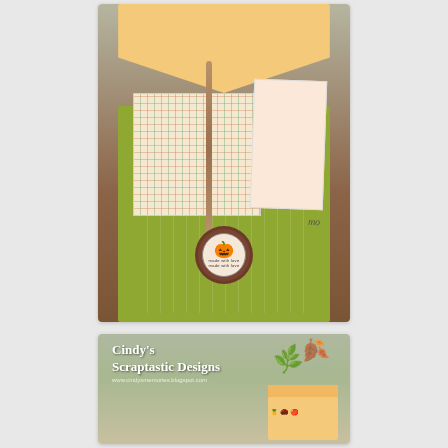[Figure (photo): Handmade craft project: a green paper envelope/pocket with autumn-themed decorations including plaid paper, a card, twine, and a circular stamp with a pumpkin motif and 'made with love' text]
[Figure (photo): Handmade craft project showing a paper envelope with autumn/pineapple patterned paper and decorative leaf/stem embellishment, with Cindy's Scraptastic Designs watermark overlay]